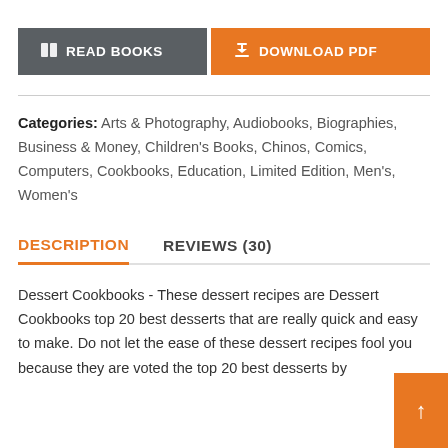[Figure (infographic): Two buttons side by side: a grey 'READ BOOKS' button with a book icon on the left, and an orange 'DOWNLOAD PDF' button with a download icon on the right.]
Categories: Arts & Photography, Audiobooks, Biographies, Business & Money, Children's Books, Chinos, Comics, Computers, Cookbooks, Education, Limited Edition, Men's, Women's
DESCRIPTION    REVIEWS (30)
Dessert Cookbooks - These dessert recipes are Dessert Cookbooks top 20 best desserts that are really quick and easy to make. Do not let the ease of these dessert recipes fool you because they are voted the top 20 best desserts by